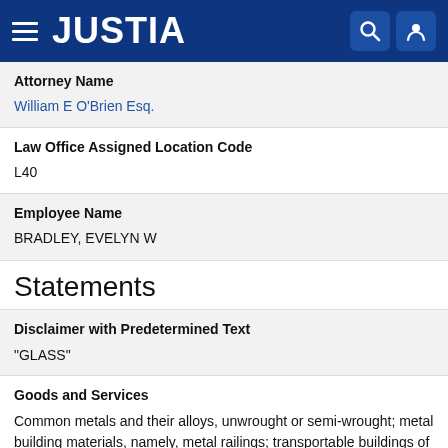JUSTIA
Attorney Name
William E O'Brien Esq.
Law Office Assigned Location Code
L40
Employee Name
BRADLEY, EVELYN W
Statements
Disclaimer with Predetermined Text
"GLASS"
Goods and Services
Common metals and their alloys, unwrought or semi-wrought; metal building materials, namely, metal railings; transportable buildings of metal; materials of